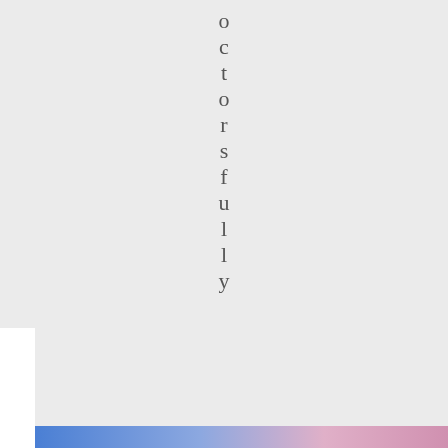o c t o r s f u l l y
Privacy & Cookies: This site uses cookies. By continuing to use this website, you agree to their use.
To find out more, including how to control cookies, see here: Cookie Policy
Close and accept